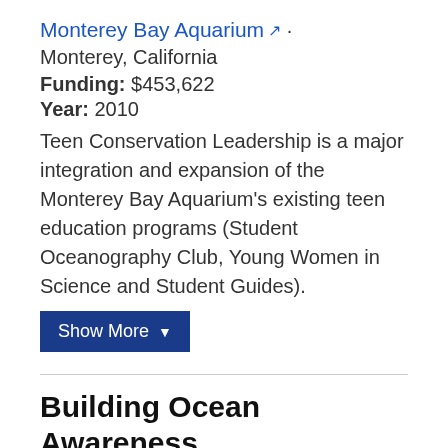Monterey Bay Aquarium · Monterey, California
Funding: $453,622
Year: 2010
Teen Conservation Leadership is a major integration and expansion of the Monterey Bay Aquarium's existing teen education programs (Student Oceanography Club, Young Women in Science and Student Guides).
Show More ▼
Building Ocean Awareness Together (BOAT)